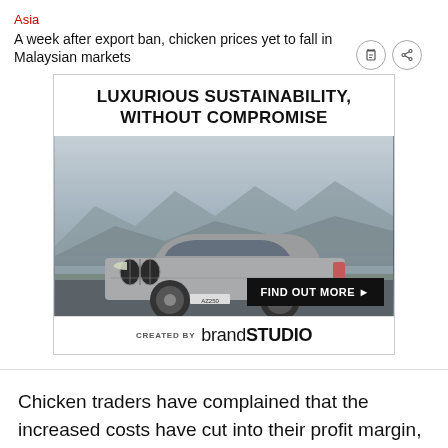Asia
A week after export ban, chicken prices yet to fall in Malaysian markets
[Figure (advertisement): BMW luxury car advertisement with headline 'LUXURIOUS SUSTAINABILITY, WITHOUT COMPROMISE', image of silver BMW sedan driving on road, 'FIND OUT MORE' button, and 'CREATED BY brandSTUDIO' footer]
Chicken traders have complained that the increased costs have cut into their profit margin, especially when a price ceiling is enforced.